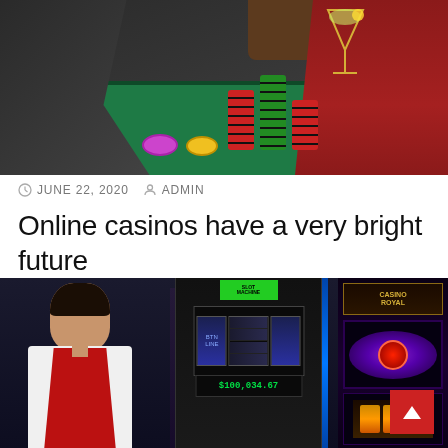[Figure (photo): Casino table scene with players, poker chips stacked on green felt, and a woman in red dress holding a cocktail glass]
JUNE 22, 2020  ADMIN
Online casinos have a very bright future
A few years back, when the web was still in its outset, a business idea came to fruition that would take the world, both virtual
[Figure (photo): Casino floor with slot machines, a casino worker in red vest and white shirt standing in the foreground, slot machine displays visible including one with an eye/purple display]